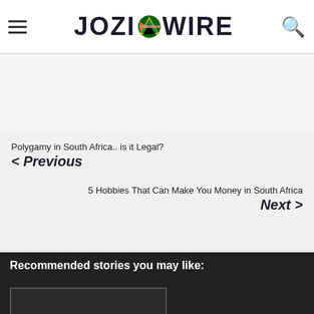JOZI WIRE
Polygamy in South Africa.. is it Legal?
< Previous
5 Hobbies That Can Make You Money in South Africa
Next >
Recommended stories you may like:
[Figure (photo): Story card image placeholder]